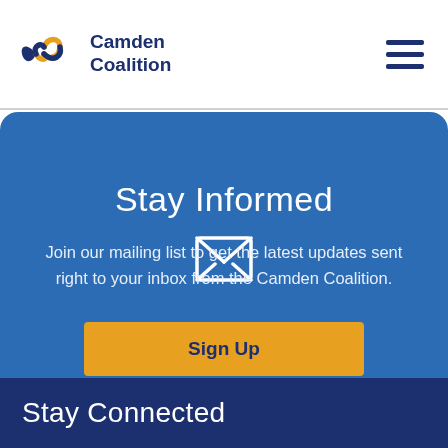Camden Coalition
Stay Informed
Join our mailing list to get the latest updates sent right to your inbox from the Camden Coalition.
Sign Up
Stay Connected